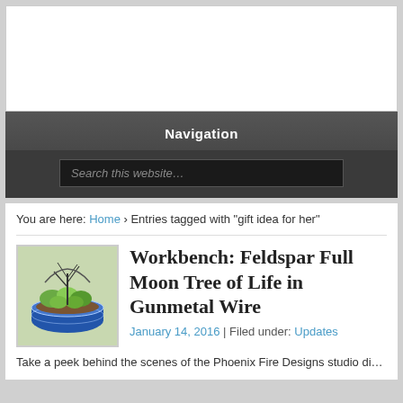[Figure (other): Advertisement banner area, white rectangle]
Navigation
Search this website...
You are here: Home › Entries tagged with "gift idea for her"
[Figure (photo): Thumbnail photo of a succulent plant arrangement in a blue and white ceramic pot with a wire tree of life sculpture]
Workbench: Feldspar Full Moon Tree of Life in Gunmetal Wire
January 14, 2016 | Filed under: Updates
Take a peek behind the scenes of the Phoenix Fire Designs studio di...